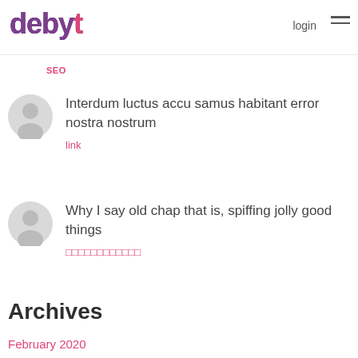debyt — login
SEO
Interdum luctus accu samus habitant error nostra nostrum
link
Why I say old chap that is, spiffing jolly good things
□□□□□□□□□□□□
Archives
February 2020